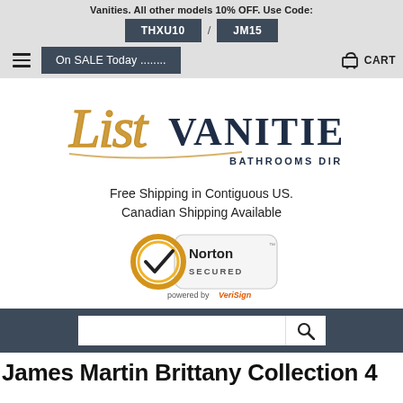Vanities. All other models 10% OFF. Use Code: THXU10 / JM15
On SALE Today ........ CART
[Figure (logo): ListVanities Bathrooms Direct logo with stylized script 'List' in gold/orange and bold serif 'VANITIES' in navy, with 'BATHROOMS DIRECT' below]
Free Shipping in Contiguous US. Canadian Shipping Available
[Figure (logo): Norton Secured badge with golden ring, checkmark, 'Norton SECURED' text and 'powered by VeriSign' below]
James Martin Brittany Collection 4